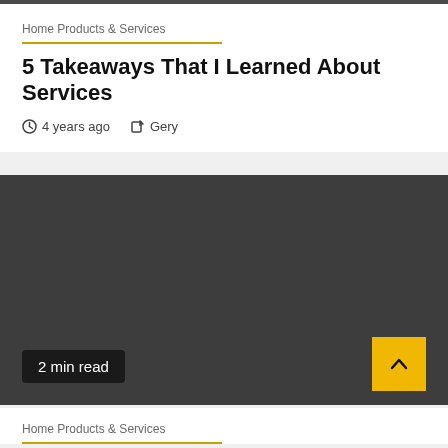Home Products & Services
5 Takeaways That I Learned About Services
4 years ago   Gery
[Figure (photo): Dark gray image placeholder for article thumbnail]
2 min read
Home Products & Services